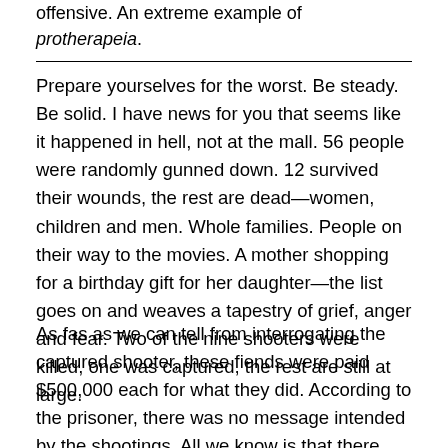offensive. An extreme example of protherapeia.
Prepare yourselves for the worst. Be steady. Be solid. I have news for you that seems like it happened in hell, not at the mall. 56 people were randomly gunned down. 12 survived their wounds, the rest are dead—women, children and men. Whole families. People on their way to the movies. A mother shopping for a birthday gift for her daughter—the list goes on and weaves a tapestry of grief, anger and fear. Two of the nine shooters were killed, one was captured, the rest are still at large.
As fas as we can tell from interrogating the captured shooter, these fiends were paid $500,000 each for what they did. According to the prisoner, there was no message intended by the shootings. All we know is that there was